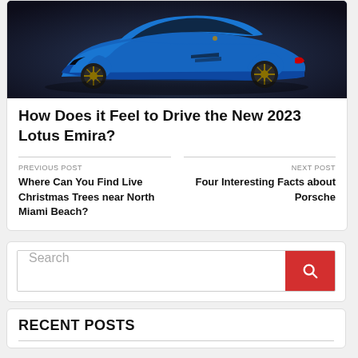[Figure (photo): Blue Lotus Emira sports car on dark studio background, viewed from front-left angle]
How Does it Feel to Drive the New 2023 Lotus Emira?
PREVIOUS POST
Where Can You Find Live Christmas Trees near North Miami Beach?
NEXT POST
Four Interesting Facts about Porsche
Search
RECENT POSTS